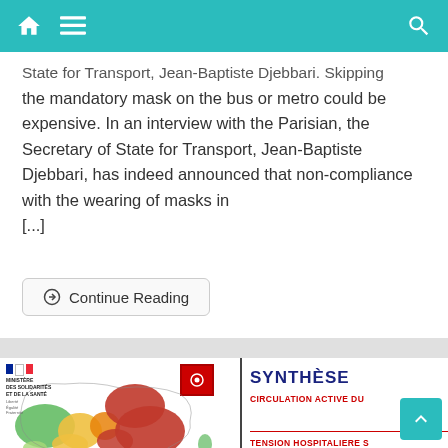Navigation bar with home, menu, and search icons
State for Transport, Jean-Baptiste Djebbari. Skipping the mandatory mask on the bus or metro could be expensive. In an interview with the Parisian, the Secretary of State for Transport, Jean-Baptiste Djebbari, has indeed announced that non-compliance with the wearing of masks in [...]
Continue Reading
[Figure (map): Map of France showing COVID-19 activity levels by department, colored in red, orange/yellow, and green. Published by Ministère des Solidarités et de la Santé. A red legend box in upper right of map.]
SYNTHÈSE
CIRCULATION ACTIVE DU
TENSION HOSPITALIERE S